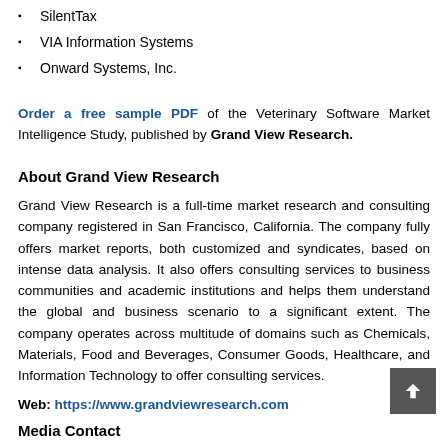SilentTax
VIA Information Systems
Onward Systems, Inc.
Order a free sample PDF of the Veterinary Software Market Intelligence Study, published by Grand View Research.
About Grand View Research
Grand View Research is a full-time market research and consulting company registered in San Francisco, California. The company fully offers market reports, both customized and syndicates, based on intense data analysis. It also offers consulting services to business communities and academic institutions and helps them understand the global and business scenario to a significant extent. The company operates across multitude of domains such as Chemicals, Materials, Food and Beverages, Consumer Goods, Healthcare, and Information Technology to offer consulting services.
Web: https://www.grandviewresearch.com
Media Contact